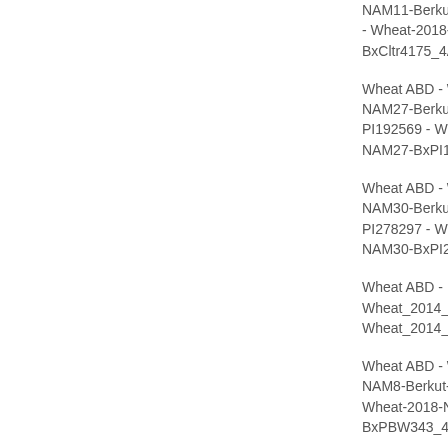NAM11-Berkut-x-Cl - Wheat-2018-NAM2 BxCltr4175_4A
Wheat ABD - Wheat NAM27-Berkut-x-PI192569 - Wheat-2 NAM27-BxPI192569
Wheat ABD - Wheat NAM30-Berkut-x-PI278297 - Wheat-2 NAM30-BxPI278297
Wheat ABD - Wheat_2014_90KSI Wheat_2014_90KSI
Wheat ABD - Wheat NAM8-Berkut-x-PBW Wheat-2018-NAM8- BxPBW343_4D
Wheat ABD - Wheat NAM13-Berkut-x-PI262611 - Wheat-2 NAM13-BxPI262611
Wheat ABD - Wheat NAM2-Berkut-x-PI57 - Wheat-2018-NAM2 BxPI572692_4A